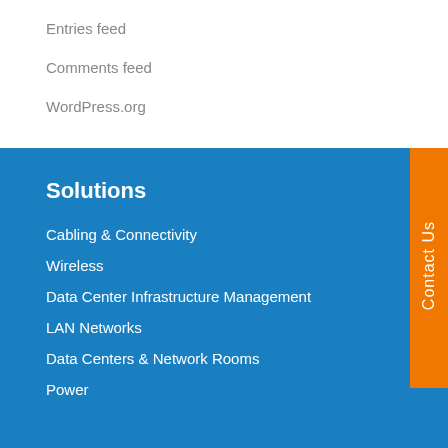Entries feed
Comments feed
WordPress.org
Solutions
Cabling & Connectivity
Wireless
Data Center Infrastructure Management
LAN Networks
Data Centers & Network Rooms
Power
Contact Us